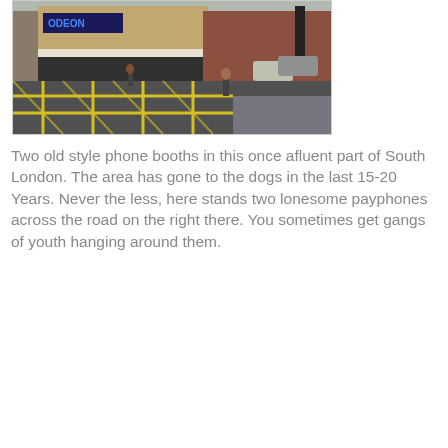[Figure (photo): Street scene in South London showing an intersection with yellow box junction markings, an Odeon cinema building on the corner, pedestrians, cars, and a traffic light. A person with a scooter/pushchair is crossing the road.]
Two old style phone booths in this once afluent part of South London. The area has gone to the dogs in the last 15-20 Years. Never the less, here stands two lonesome payphones across the road on the right there. You sometimes get gangs of youth hanging around them.